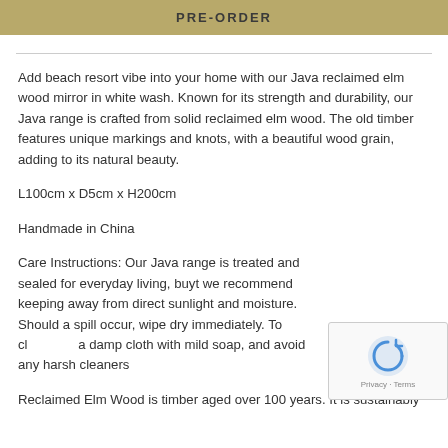PRE-ORDER
Add beach resort vibe into your home with our Java reclaimed elm wood mirror in white wash. Known for its strength and durability, our Java range is crafted from solid reclaimed elm wood. The old timber features unique markings and knots, with a beautiful wood grain, adding to its natural beauty.
L100cm x D5cm x H200cm
Handmade in China
Care Instructions: Our Java range is treated and sealed for everyday living, buyt we recommend keeping away from direct sunlight and moisture. Should a spill occur, wipe dry immediately. To cl... a damp cloth with mild soap, and avoid any harsh cleaners...
Reclaimed Elm Wood is timber aged over 100 years. It is sustainably...